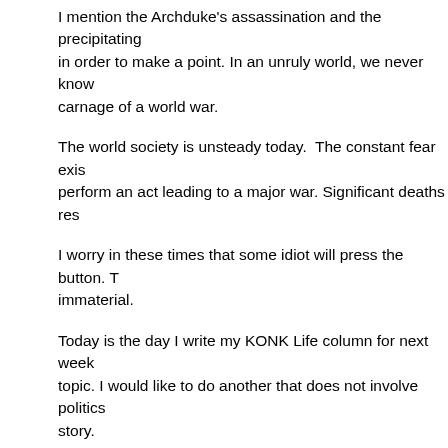I mention the Archduke's assassination and the precipitating in order to make a point. In an unruly world, we never know carnage of a world war.
The world society is unsteady today.  The constant fear exis perform an act leading to a major war. Significant deaths res
I worry in these times that some idiot will press the button. T immaterial.
Today is the day I write my KONK Life column for next week topic. I would like to do another that does not involve politics story.
Last week it was sand.
I am toying with the idea of doing something about the Key W effort to identify all buried persons. Many graves are without